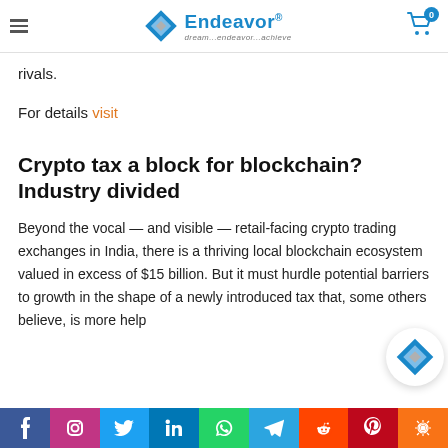Endeavor — dream...endeavor...achieve
rivals.
For details visit
Crypto tax a block for blockchain? Industry divided
Beyond the vocal — and visible — retail-facing crypto trading exchanges in India, there is a thriving local blockchain ecosystem valued in excess of $15 billion. But it must hurdle potential barriers to growth in the shape of a newly introduced tax that, some others believe, is more help
f  ig  tw  in  wa  tg  rd  pi  share